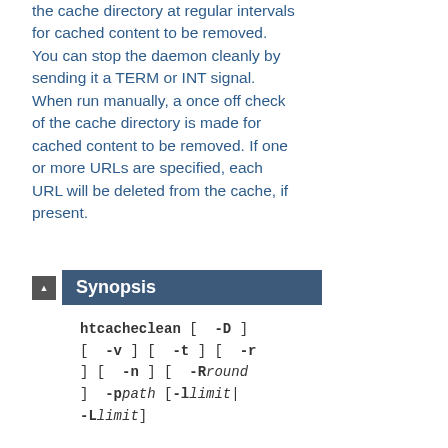the cache directory at regular intervals for cached content to be removed. You can stop the daemon cleanly by sending it a TERM or INT signal. When run manually, a once off check of the cache directory is made for cached content to be removed. If one or more URLs are specified, each URL will be deleted from the cache, if present.
Synopsis
htcacheclean [ -D ] [ -v ] [ -t ] [ -r ] [ -n ] [ -Rround ] -ppath [-llimit|-Llimit]
htcacheclean [ -n ] [ -t ] [ -i ] [ -Pnidfile ] [ -